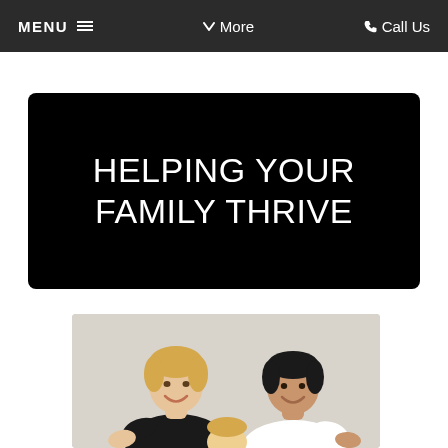MENU  More  Call Us
HELPING YOUR FAMILY THRIVE
[Figure (photo): Two men smiling and looking down, one wearing a black shirt and one wearing a white shirt, set against a light grey background]